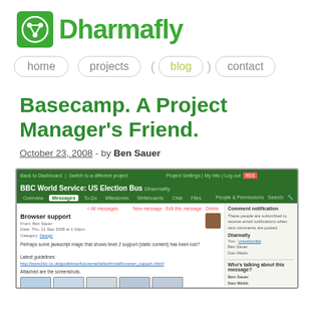Dharmafly
[Figure (screenshot): Dharmafly logo - green circuit board icon with Dharmafly text]
home   projects   ( blog )   contact
Basecamp. A Project Manager's Friend.
October 23, 2008 - by Ben Sauer
[Figure (screenshot): Screenshot of Basecamp project management tool showing BBC World Service US Election Bus project page with Messages tab, Browser support message, and sidebar with comment notification panel]